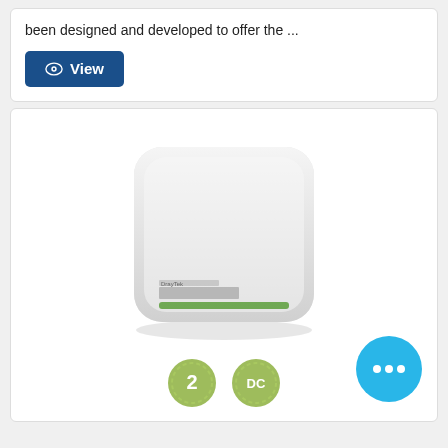been designed and developed to offer the ...
View
[Figure (photo): White wireless router/access point device with rounded corners, showing a green LED indicator strip and brand label on the front face. Two certification badge icons visible at the bottom.]